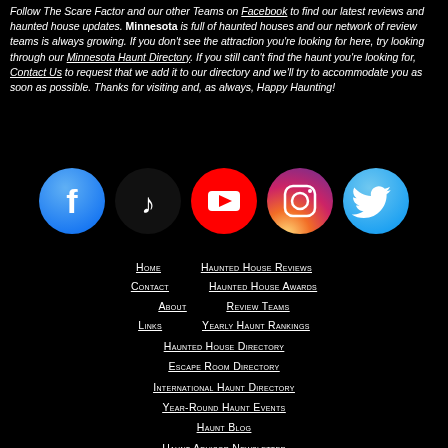Follow The Scare Factor and our other Teams on Facebook to find our latest reviews and haunted house updates. Minnesota is full of haunted houses and our network of review teams is always growing. If you don't see the attraction you're looking for here, try looking through our Minnesota Haunt Directory. If you still can't find the haunt you're looking for, Contact Us to request that we add it to our directory and we'll try to accommodate you as soon as possible. Thanks for visiting and, as always, Happy Haunting!
[Figure (logo): Row of five circular social media icons: Facebook (blue gradient), TikTok (black with white logo), YouTube (red), Instagram (dark gradient), Twitter (blue)]
Home
Haunted House Reviews
Contact
Haunted House Awards
About
Review Teams
Links
Yearly Haunt Rankings
Haunted House Directory
Escape Room Directory
International Haunt Directory
Year-Round Haunt Events
Haunt Blog
Haunt Advisor Newsletter
Advertise